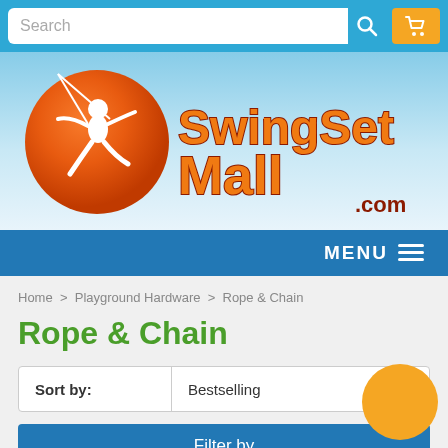[Figure (screenshot): Website search bar with text input field, search icon, and yellow shopping cart icon on blue background]
[Figure (logo): SwingSetMall.com logo: orange globe with white child silhouette swinging, text 'SwingSetMall.com' in orange/red lettering on sky blue gradient background]
MENU ≡
Home > Playground Hardware > Rope & Chain
Rope & Chain
Sort by: Bestselling
Filter by